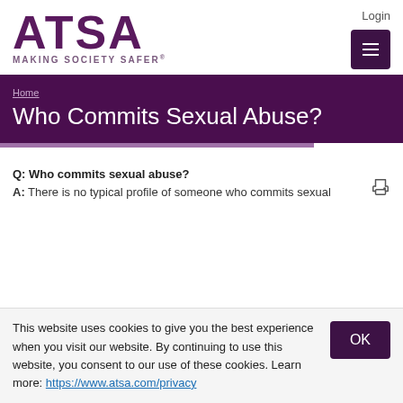ATSA MAKING SOCIETY SAFER® — Login — Menu
Who Commits Sexual Abuse?
Home
Q: Who commits sexual abuse?
A: There is no typical profile of someone who commits sexual
This website uses cookies to give you the best experience when you visit our website. By continuing to use this website, you consent to our use of these cookies. Learn more: https://www.atsa.com/privacy